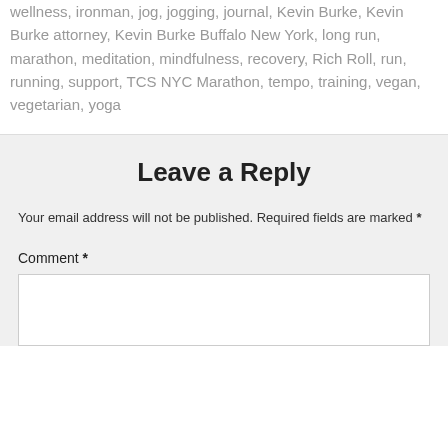wellness, ironman, jog, jogging, journal, Kevin Burke, Kevin Burke attorney, Kevin Burke Buffalo New York, long run, marathon, meditation, mindfulness, recovery, Rich Roll, run, running, support, TCS NYC Marathon, tempo, training, vegan, vegetarian, yoga
Leave a Reply
Your email address will not be published. Required fields are marked *
Comment *